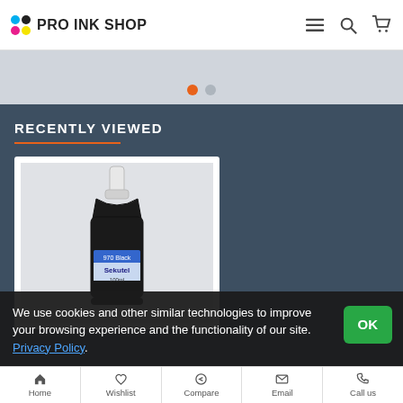PRO INK SHOP
[Figure (photo): Black ink bottle (970 Black, Sekutel, 100ml) with white tip on light background]
RECENTLY VIEWED
We use cookies and other similar technologies to improve your browsing experience and the functionality of our site. Privacy Policy.
Home | Wishlist | Compare | Email | Call us